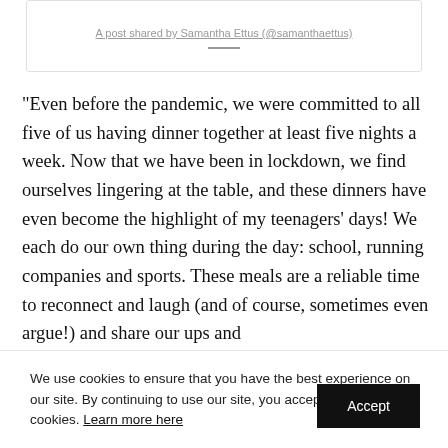A post shared by Samantha Ettus (@samanthaettus)
“Even before the pandemic, we were committed to all five of us having dinner together at least five nights a week. Now that we have been in lockdown, we find ourselves lingering at the table, and these dinners have even become the highlight of my teenagers’ days! We each do our own thing during the day: school, running companies and sports. These meals are a reliable time to reconnect and laugh (and of course, sometimes even argue!) and share our ups and
We use cookies to ensure that you have the best experience on our site. By continuing to use our site, you accept the use of cookies. Learn more here